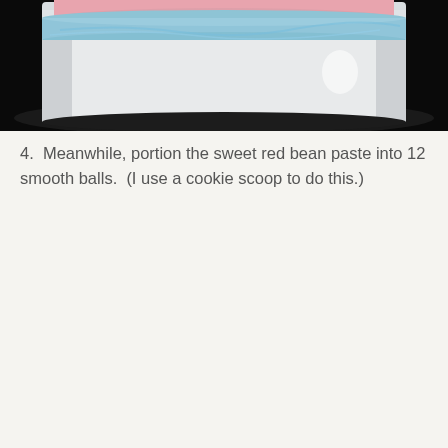[Figure (photo): A white ceramic bowl covered with plastic wrap and a blue lid/rim, placed on a dark plate/surface. The contents appear to be pink/red colored, visible at the top.]
4.  Meanwhile, portion the sweet red bean paste into 12 smooth balls.  (I use a cookie scoop to do this.)